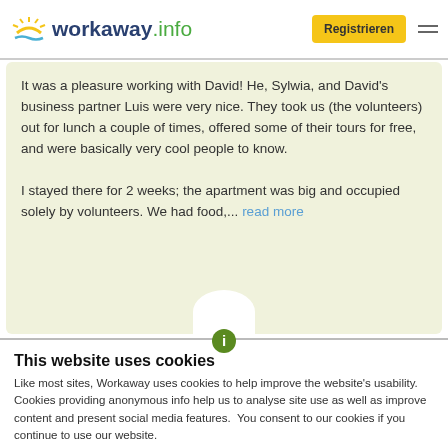[Figure (logo): Workaway.info logo with sun icon]
Registrieren
It was a pleasure working with David! He, Sylwia, and David's business partner Luis were very nice. They took us (the volunteers) out for lunch a couple of times, offered some of their tours for free, and were basically very cool people to know.

I stayed there for 2 weeks; the apartment was big and occupied solely by volunteers. We had food,... read more
This website uses cookies
Like most sites, Workaway uses cookies to help improve the website's usability. Cookies providing anonymous info help us to analyse site use as well as improve content and present social media features.  You consent to our cookies if you continue to use our website.
OK
Settings